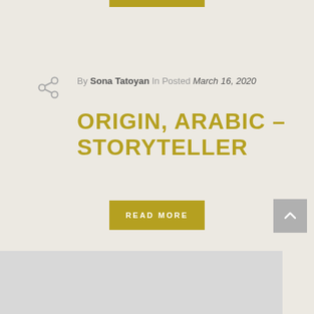[Figure (other): Partially visible olive/yellow button at the top of the page]
By Sona Tatoyan In Posted March 16, 2020
ORIGIN, ARABIC – STORYTELLER
READ MORE
[Figure (other): Scroll-to-top arrow button (gray background with upward chevron)]
[Figure (photo): Partially visible gray image area at the bottom of the page]